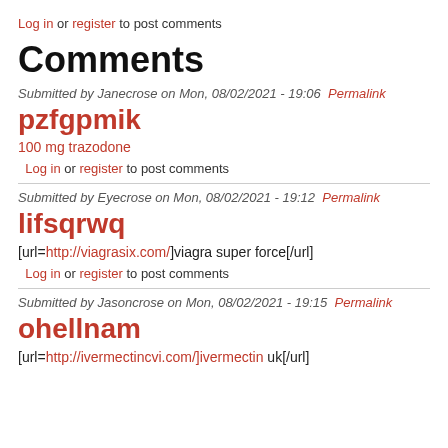Log in or register to post comments
Comments
Submitted by Janecrose on Mon, 08/02/2021 - 19:06 Permalink
pzfgpmik
100 mg trazodone
Log in or register to post comments
Submitted by Eyecrose on Mon, 08/02/2021 - 19:12 Permalink
lifsqrwq
[url=http://viagrasix.com/]viagra super force[/url]
Log in or register to post comments
Submitted by Jasoncrose on Mon, 08/02/2021 - 19:15 Permalink
ohellnam
[url=http://ivermectincvi.com/]ivermectin uk[/url]